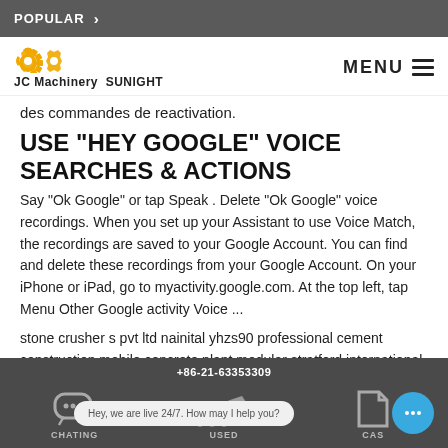POPULAR >
[Figure (logo): JC Machinery SUNIGHT logo with golden gear icons]
des commandes de reactivation.
USE "HEY GOOGLE" VOICE SEARCHES & ACTIONS
Say "Ok Google" or tap Speak . Delete "Ok Google" voice recordings. When you set up your Assistant to use Voice Match, the recordings are saved to your Google Account. You can find and delete these recordings from your Google Account. On your iPhone or iPad, go to myactivity.google.com. At the top left, tap Menu Other Google activity Voice ...
stone crusher s pvt ltd nainital yhzs90 professional cement construction mobile concrete plant modular stratford international stationtc modular concrete
CHATING | +86-21-63353309 | USED | CASE | Hey, we are live 24/7. How may I help you?